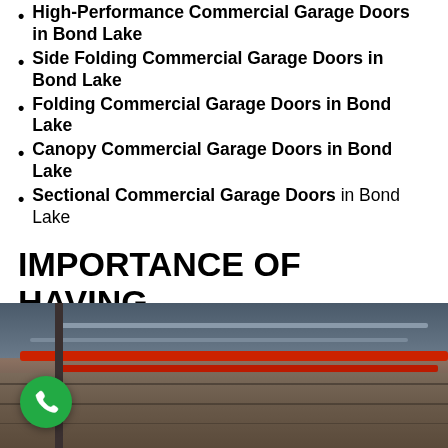High-Performance Commercial Garage Doors in Bond Lake
Side Folding Commercial Garage Doors in Bond Lake
Folding Commercial Garage Doors in Bond Lake
Canopy Commercial Garage Doors in Bond Lake
Sectional Commercial Garage Doors in Bond Lake
IMPORTANCE OF HAVING A COMMERCIAL GARAGE DOORS IN BOND LAKE
[Figure (photo): Interior of a commercial garage or warehouse showing metal ceiling structure, red pipes/beams, and brown/rust colored walls. A green phone button is visible in the bottom left corner.]